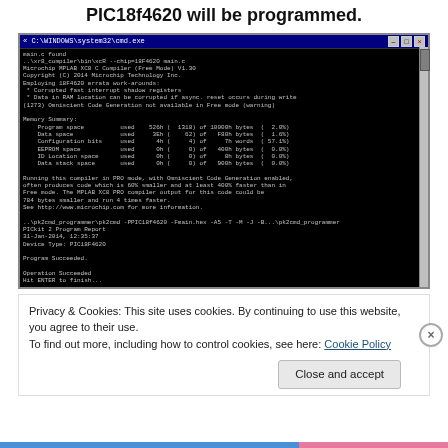PIC18f4620 will be programmed.
[Figure (screenshot): Windows CMD window showing XC8 compiler output and PICkit2 programmer output. Includes memory summary, compiler messages, and program succeeded/operation succeeded messages.]
Privacy & Cookies: This site uses cookies. By continuing to use this website, you agree to their use.
To find out more, including how to control cookies, see here: Cookie Policy
Close and accept